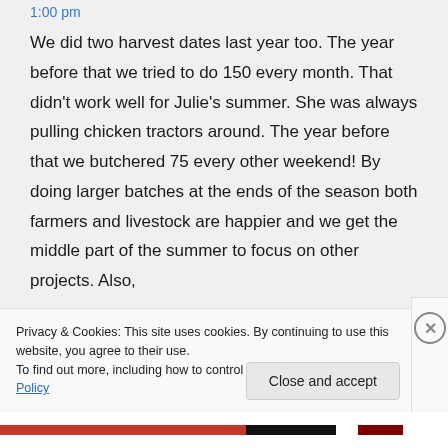1:00 pm
We did two harvest dates last year too. The year before that we tried to do 150 every month. That didn't work well for Julie's summer. She was always pulling chicken tractors around. The year before that we butchered 75 every other weekend! By doing larger batches at the ends of the season both farmers and livestock are happier and we get the middle part of the summer to focus on other projects. Also,
Privacy & Cookies: This site uses cookies. By continuing to use this website, you agree to their use.
To find out more, including how to control cookies, see here: Cookie Policy